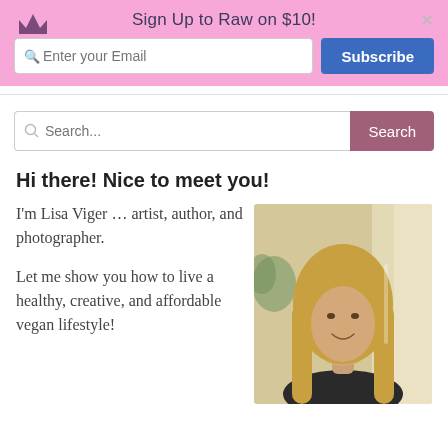Sign Up to Raw on $10!
Enter your Email
Subscribe
Search...
Search
Hi there! Nice to meet you!
I'm Lisa Viger ... artist, author, and photographer.
Let me show you how to live a healthy, creative, and affordable vegan lifestyle!
[Figure (photo): Portrait photo of Lisa Viger, a woman with long blonde hair, smiling, indoors near a window with plants in the background.]